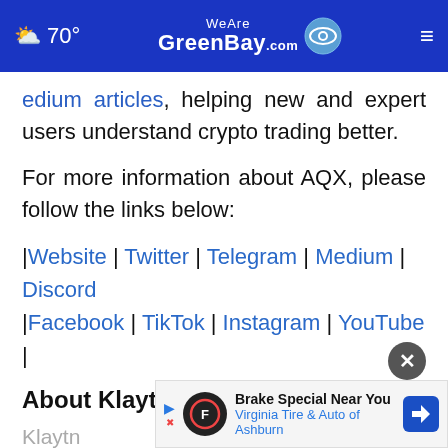70° WeAreGreenBay.com
edium articles, helping new and expert users understand crypto trading better.
For more information about AQX, please follow the links below:
|Website | Twitter | Telegram | Medium | Discord |Facebook | TikTok | Instagram | YouTube |
About Klaytn
Klaytn ... n the metaverse, gamefi, and the creator economy